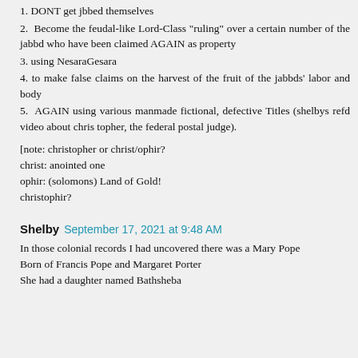1. DONT get jbbed themselves
2. Become the feudal-like Lord-Class "ruling" over a certain number of the jabbd who have been claimed AGAIN as property
3. using NesaraGesara
4. to make false claims on the harvest of the fruit of the jabbds' labor and body
5. AGAIN using various manmade fictional, defective Titles (shelbys refd video about chris topher, the federal postal judge).
[note: christopher or christ/ophir?
christ: anointed one
ophir: (solomons) Land of Gold!
christophir?
Shelby September 17, 2021 at 9:48 AM
In those colonial records I had uncovered there was a Mary Pope
Born of Francis Pope and Margaret Porter
She had a daughter named Bathsheba